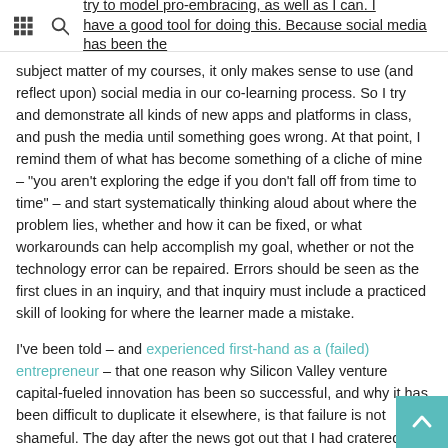try to model pro-embracing, as well as I can. I have a good tool for doing this. Because social media has been the
subject matter of my courses, it only makes sense to use (and reflect upon) social media in our co-learning process. So I try and demonstrate all kinds of new apps and platforms in class, and push the media until something goes wrong. At that point, I remind them of what has become something of a cliche of mine – "you aren't exploring the edge if you don't fall off from time to time" – and start systematically thinking aloud about where the problem lies, whether and how it can be fixed, or what workarounds can help accomplish my goal, whether or not the technology error can be repaired. Errors should be seen as the first clues in an inquiry, and that inquiry must include a practiced skill of looking for where the learner made a mistake.
I've been told – and experienced first-hand as a (failed) entrepreneur – that one reason why Silicon Valley venture capital-fueled innovation has been so successful, and why it has been difficult to duplicate it elsewhere, is that failure is not shameful. The day after the news got out that I had cratered my early dotcom, I started getting calls from potential investors in my next one. There's a good reason for that. You learn a lot when you make a mistake. But in other